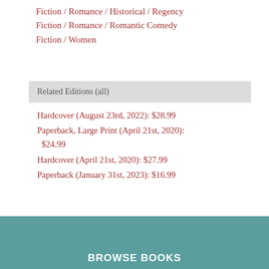Fiction / Romance / Historical / Regency
Fiction / Romance / Romantic Comedy
Fiction / Women
Related Editions (all)
Hardcover (August 23rd, 2022): $28.99
Paperback, Large Print (April 21st, 2020): $24.99
Hardcover (April 21st, 2020): $27.99
Paperback (January 31st, 2023): $16.99
BROWSE BOOKS